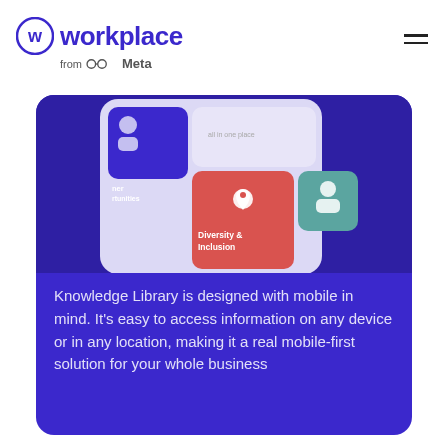Workplace from Meta
[Figure (screenshot): Workplace from Meta app screenshot showing a phone with tiles including 'Diversity & Inclusion' (red tile with location pin icon) and a teal tile with a profile icon, overlaid on a purple background with light lavender phone screen.]
Knowledge Library is designed with mobile in mind. It's easy to access information on any device or in any location, making it a real mobile-first solution for your whole business